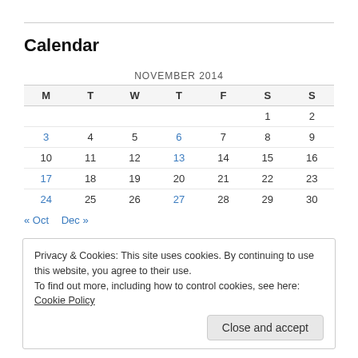Calendar
| M | T | W | T | F | S | S |
| --- | --- | --- | --- | --- | --- | --- |
|  |  |  |  |  | 1 | 2 |
| 3 | 4 | 5 | 6 | 7 | 8 | 9 |
| 10 | 11 | 12 | 13 | 14 | 15 | 16 |
| 17 | 18 | 19 | 20 | 21 | 22 | 23 |
| 24 | 25 | 26 | 27 | 28 | 29 | 30 |
« Oct   Dec »
Privacy & Cookies: This site uses cookies. By continuing to use this website, you agree to their use. To find out more, including how to control cookies, see here: Cookie Policy
Close and accept